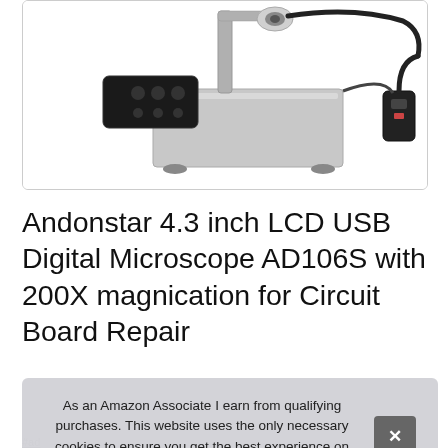[Figure (photo): Product photo of Andonstar AD106S digital microscope with LCD screen, metal stand, remote control, and USB cable on a white background]
Andonstar 4.3 inch LCD USB Digital Microscope AD106S with 200X magnication for Circuit Board Repair
#ad
As an Amazon Associate I earn from qualifying purchases. This website uses the only necessary cookies to ensure you get the best experience on our website. More information